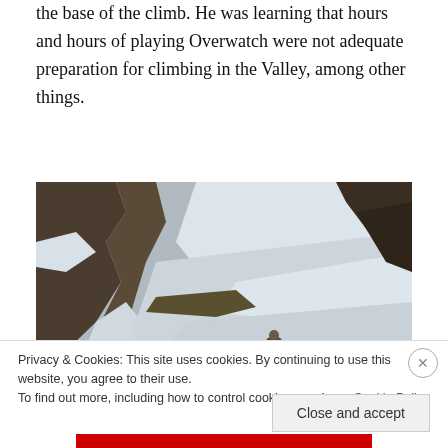the base of the climb. He was learning that hours and hours of playing Overwatch were not adequate preparation for climbing in the Valley, among other things.
[Figure (photo): A snowy mountain landscape with rocky cliffs. A small figure of a person is visible sitting on the snow in the lower center-right of the image.]
Privacy & Cookies: This site uses cookies. By continuing to use this website, you agree to their use.
To find out more, including how to control cookies, see here: Cookie Policy